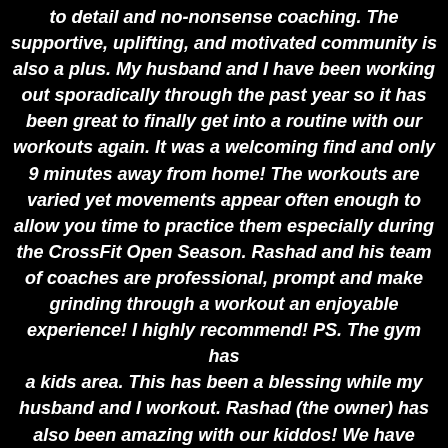to detail and no-nonsense coaching. The supportive, uplifting, and motivated community is also a plus. My husband and I have been working out sporadically through the past year so it has been great to finally get into a routine with our workouts again. It was a welcoming find and only 9 minutes away from home! The workouts are varied yet movements appear often enough to allow you time to practice them especially during the CrossFit Open Season. Rashad and his team of coaches are professional, prompt and make grinding through a workout an enjoyable experience! I highly recommend! PS. The gym has a kids area. This has been a blessing while my husband and I workout. Rashad (the owner) has also been amazing with our kiddos! We have been treated like family from the first moment we